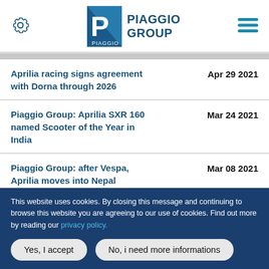Piaggio Group
Aprilia racing signs agreement with Dorna through 2026 — Apr 29 2021
Piaggio Group: Aprilia SXR 160 named Scooter of the Year in India — Mar 24 2021
Piaggio Group: after Vespa, Aprilia moves into Nepal — Mar 08 2021
This website uses cookies. By closing this message and continuing to browse this website you are agreeing to our use of cookies. Find out more by reading our privacy policy.